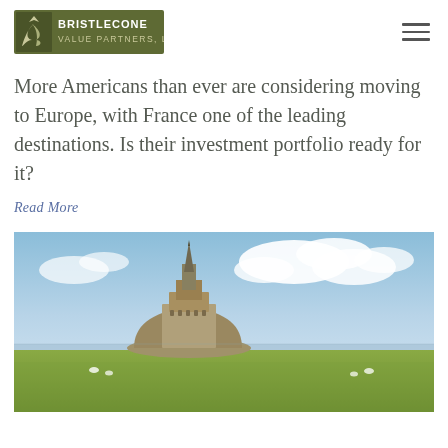Bristlecone Value Partners, LLC
More Americans than ever are considering moving to Europe, with France one of the leading destinations. Is their investment portfolio ready for it?
Read More
[Figure (photo): Panoramic photograph of Mont Saint-Michel, a medieval abbey on a tidal island in Normandy, France, with green fields in the foreground and a partly cloudy sky above.]